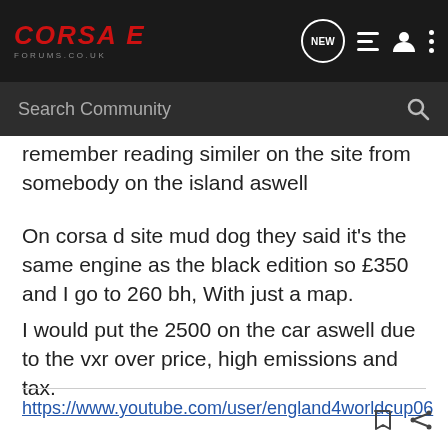CORSAE FORUMS.CO.UK
remember reading similer on the site from somebody on the island aswell
On corsa d site mud dog they said it's the same engine as the black edition so £350 and I go to 260 bh, With just a map.
I would put the 2500 on the car aswell due to the vxr over price, high emissions and tax.
https://www.youtube.com/user/england4worldcup06